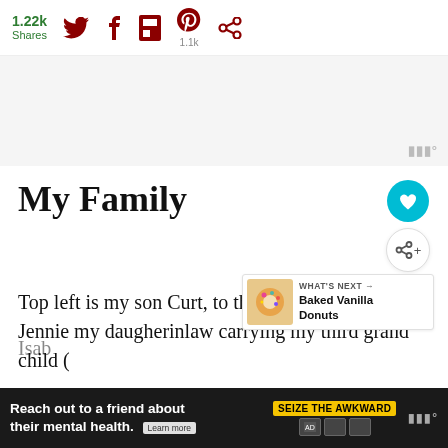1.22k Shares | Twitter | Facebook | Flipboard | Pinterest 1.1k | Share
[Figure (screenshot): Advertisement banner, light gray background with Moat watermark]
My Family
Top left is my son Curt, to the right is Devin, Jennie my daugherinlaw carrying my third grand child (
[Figure (screenshot): What's Next callout: Baked Vanilla Donuts with thumbnail image]
[Figure (screenshot): Bottom advertisement banner: Reach out to a friend about their mental health. Learn more | SEIZE THE AWKWARD]